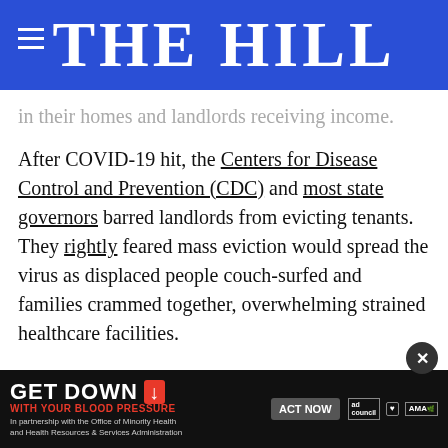THE HILL
in their homes and landlords receiving income.
After COVID-19 hit, the Centers for Disease Control and Prevention (CDC) and most state governors barred landlords from evicting tenants. They rightly feared mass eviction would spread the virus as displaced people couch-surfed and families crammed together, overwhelming strained healthcare facilities.
CDC's eviction moratorium, extended several times, ends on June 30, as many state-level eviction bans also expire. Some courts are already hearing eviction cases and d from t
[Figure (screenshot): Advertisement banner: GET DOWN WITH YOUR BLOOD PRESSURE. In partnership with the Office of Minority Health and Health Resources & Services Administration. ACT NOW button. Ad Council, American Heart Association, AMA logos.]